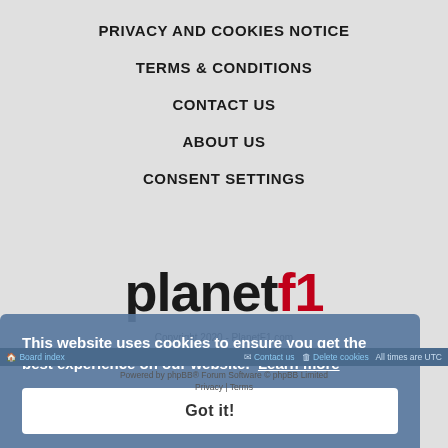PRIVACY AND COOKIES NOTICE
TERMS & CONDITIONS
CONTACT US
ABOUT US
CONSENT SETTINGS
[Figure (logo): PlanetF1 logo with 'planet' in black bold and 'f1' in red bold]
Copyright 2020 - PlanetF1.com
This website uses cookies to ensure you get the best experience on our website. Learn more
Got it!
Board index   Contact us   Delete cookies   All times are UTC
Powered by phpBB® Forum Software © phpBB Limited
Privacy | Terms